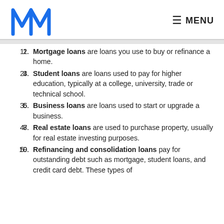MM logo and MENU navigation
Mortgage loans are loans you use to buy or refinance a home.
Student loans are loans used to pay for higher education, typically at a college, university, trade or technical school.
Business loans are loans used to start or upgrade a business.
Real estate loans are used to purchase property, usually for real estate investing purposes.
Refinancing and consolidation loans pay for outstanding debt such as mortgage, student loans, and credit card debt. These types of